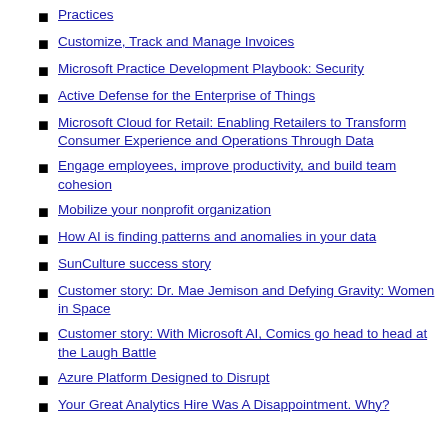Practices
Customize, Track and Manage Invoices
Microsoft Practice Development Playbook: Security
Active Defense for the Enterprise of Things
Microsoft Cloud for Retail: Enabling Retailers to Transform Consumer Experience and Operations Through Data
Engage employees, improve productivity, and build team cohesion
Mobilize your nonprofit organization
How AI is finding patterns and anomalies in your data
SunCulture success story
Customer story: Dr. Mae Jemison and Defying Gravity: Women in Space
Customer story: With Microsoft AI, Comics go head to head at the Laugh Battle
Azure Platform Designed to Disrupt
Your Great Analytics Hire Was A Disappointment. Why?